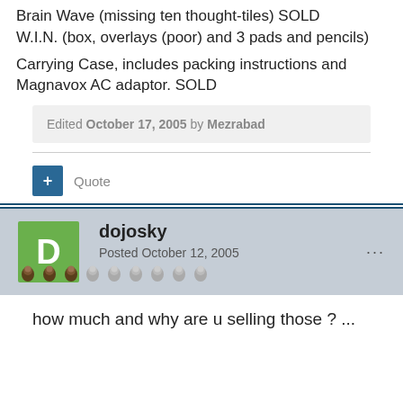Brain Wave (missing ten thought-tiles) SOLD
W.I.N. (box, overlays (poor) and 3 pads and pencils)
Carrying Case, includes packing instructions and Magnavox AC adaptor. SOLD
Edited October 17, 2005 by Mezrabad
Quote
dojosky
Posted October 12, 2005
how much and why are u selling those ? ...